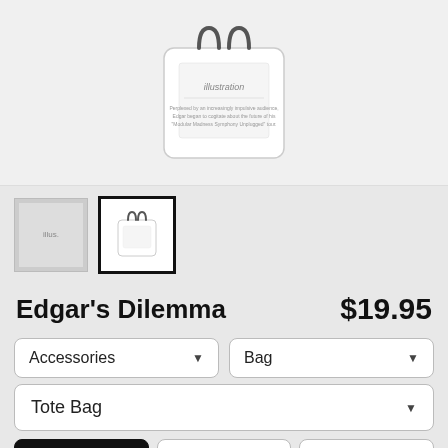[Figure (photo): Product photo of a white tote bag with printed illustration on a light background]
[Figure (photo): Two product thumbnails: left is an illustration view, right is the tote bag view (selected with bold border)]
Edgar's Dilemma
$19.95
Accessories (dropdown)
Bag (dropdown)
Tote Bag (dropdown)
$19.95  13" x 13"
$22.45  16" x 16"
$24.45  18" x 18"